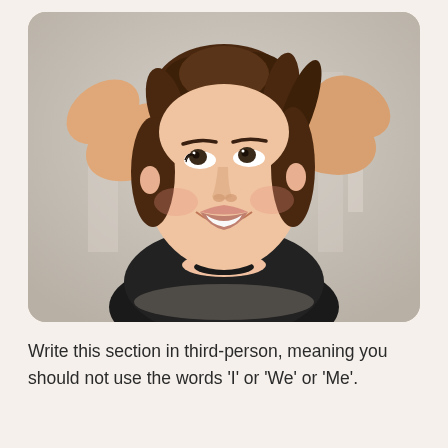[Figure (photo): Portrait photo of a young woman with brown hair pulled up, smiling and looking upward to the left, wearing a black top with cutout neckline, arms raised behind her head, blurred outdoor background.]
Write this section in third-person, meaning you should not use the words 'I' or 'We' or 'Me'.